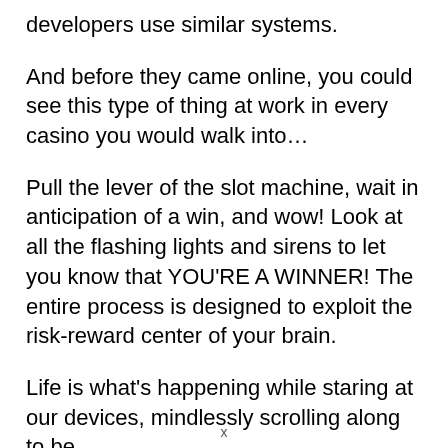developers use similar systems.
And before they came online, you could see this type of thing at work in every casino you would walk into…
Pull the lever of the slot machine, wait in anticipation of a win, and wow! Look at all the flashing lights and sirens to let you know that YOU'RE A WINNER! The entire process is designed to exploit the risk-reward center of your brain.
Life is what's happening while staring at our devices, mindlessly scrolling along to be
x